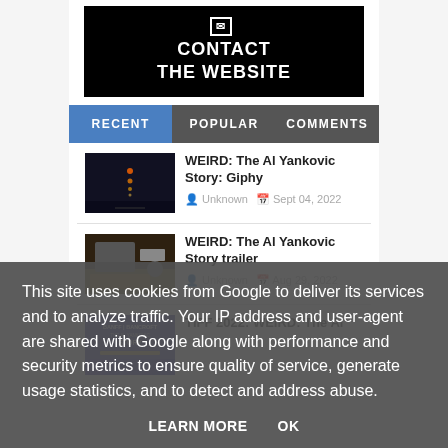[Figure (screenshot): Contact the website button — black background with envelope icon and text 'CONTACT THE WEBSITE']
RECENT  POPULAR  COMMENTS
[Figure (photo): Dark night scene thumbnail for WEIRD: The Al Yankovic Story: Giphy article]
WEIRD: The Al Yankovic Story: Giphy
Unknown  Sept 04, 2022
[Figure (photo): Indoor scene thumbnail for WEIRD: The Al Yankovic Story trailer article]
WEIRD: The Al Yankovic Story trailer
Unknown  Aug 29, 2022
[Figure (photo): TIFF 2022 poster thumbnail]
TIFF 2022: WEIRD: The Al
This site uses cookies from Google to deliver its services and to analyze traffic. Your IP address and user-agent are shared with Google along with performance and security metrics to ensure quality of service, generate usage statistics, and to detect and address abuse.
LEARN MORE  OK